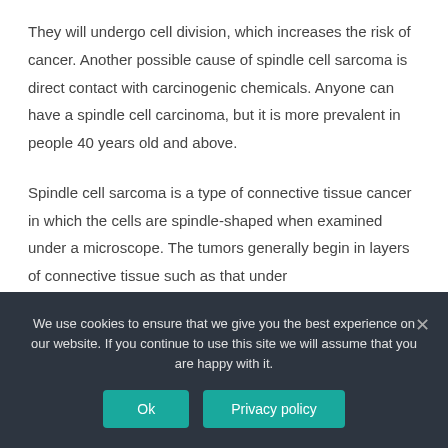They will undergo cell division, which increases the risk of cancer. Another possible cause of spindle cell sarcoma is direct contact with carcinogenic chemicals. Anyone can have a spindle cell carcinoma, but it is more prevalent in people 40 years old and above.
Spindle cell sarcoma is a type of connective tissue cancer in which the cells are spindle-shaped when examined under a microscope. The tumors generally begin in layers of connective tissue such as that under
We use cookies to ensure that we give you the best experience on our website. If you continue to use this site we will assume that you are happy with it.